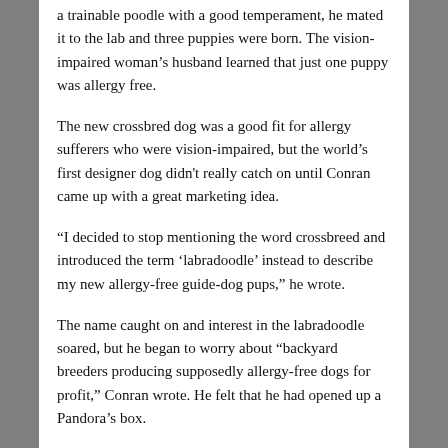a trainable poodle with a good temperament, he mated it to the lab and three puppies were born. The vision-impaired woman's husband learned that just one puppy was allergy free.
The new crossbred dog was a good fit for allergy sufferers who were vision-impaired, but the world's first designer dog didn't really catch on until Conran came up with a great marketing idea.
“I decided to stop mentioning the word crossbreed and introduced the term ‘labradoodle’ instead to describe my new allergy-free guide-dog pups,” he wrote.
The name caught on and interest in the labradoodle soared, but he began to worry about “backyard breeders producing supposedly allergy-free dogs for profit,” Conran wrote. He felt that he had opened up a Pandora’s box.
“Were breeders bothering to check their sires and bitches for hereditary faults, or were they simply caught up in delivering to hungry customers the next status symbol?”